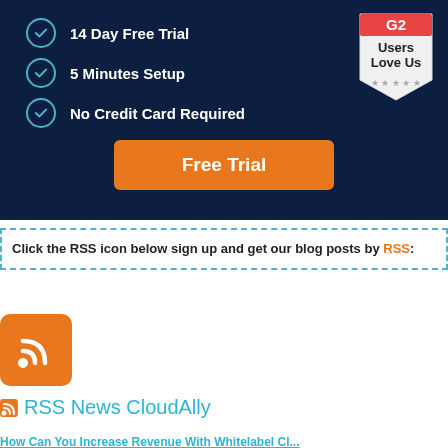[Figure (infographic): Dark blue promotional banner with three checklist items (14 Day Free Trial, 5 Minutes Setup, No Credit Card Required), an orange Free Trial button, and a G2 Users Love Us badge in the top right corner.]
Click the RSS icon below sign up and get our blog posts by RSS:
[Figure (logo): Orange RSS feed icon button]
RSS News CloudAlly
How Can You Increase Revenue With Whitelabel Cl...